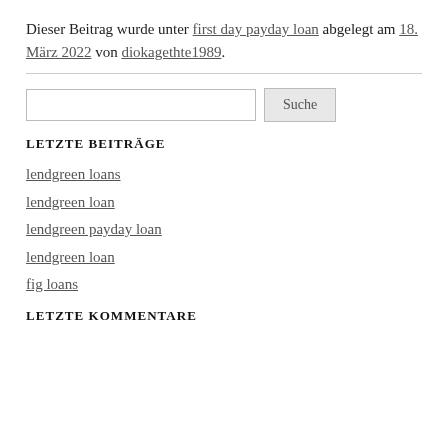Dieser Beitrag wurde unter first day payday loan abgelegt am 18. März 2022 von diokagethte1989.
LETZTE BEITRÄGE
lendgreen loans
lendgreen loan
lendgreen payday loan
lendgreen loan
fig loans
LETZTE KOMMENTARE